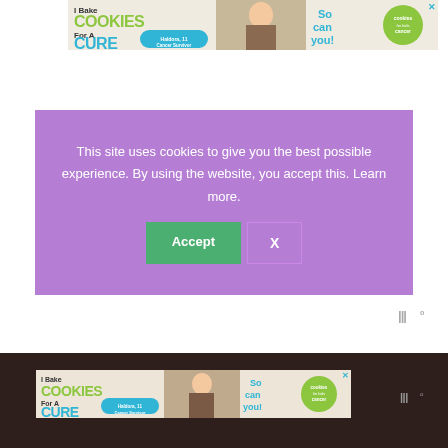[Figure (illustration): I Bake COOKIES For A CURE advertisement banner with child image, Haldora 11 Cancer Survivor badge, 'So can you!' text, and Cookies for Kids Cancer logo]
This site uses cookies to give you the best possible experience. By using the website, you accept this. Learn more.
[Figure (illustration): Accept button (green) and X button (outlined) in cookie consent modal]
[Figure (logo): Wordmark logo WWº in gray]
[Figure (illustration): I Bake COOKIES For A CURE advertisement banner repeated at bottom of page with child image and Cookies for Kids Cancer logo]